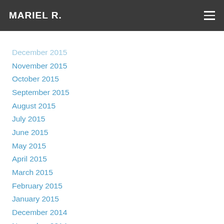MARIEL R.
December 2015
November 2015
October 2015
September 2015
August 2015
July 2015
June 2015
May 2015
April 2015
March 2015
February 2015
January 2015
December 2014
November 2014
October 2014
September 2014
August 2014